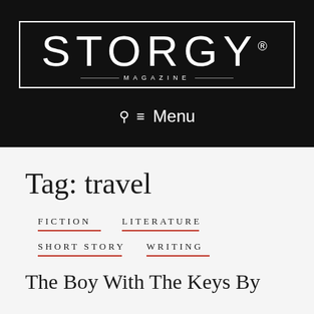[Figure (logo): STORGY Magazine logo — white text on black background with border box, 'STORGY®' in large letters and 'MAGAZINE' below with decorative lines]
☰ Menu
Tag: travel
FICTION
LITERATURE
SHORT STORY
WRITING
The Boy With The Keys By